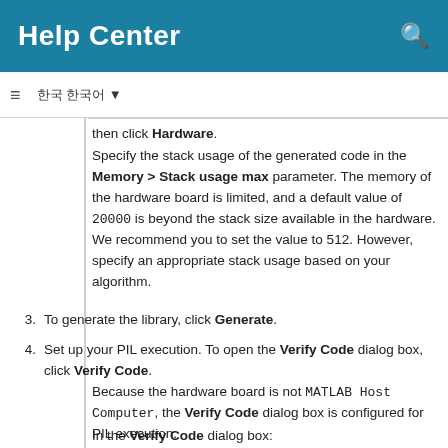Help Center
then click Hardware.
Specify the stack usage of the generated code in the Memory > Stack usage max parameter. The memory of the hardware board is limited, and a default value of 20000 is beyond the stack size available in the hardware. We recommend you to set the value to 512. However, specify an appropriate stack usage based on your algorithm.
3. To generate the library, click Generate.
4. Set up your PIL execution. To open the Verify Code dialog box, click Verify Code.
Because the hardware board is not MATLAB Host Computer, the Verify Code dialog box is configured for PIL execution.
In the Verify Code dialog box:
Enter the name of the test file for PIL execution.